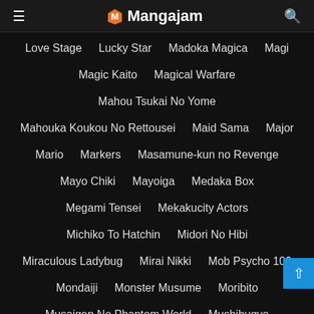Mangajam
Love Stage
Lucky Star
Madoka Magica
Magi
Magic Kaito
Magical Warfare
Mahou Tsukai No Yome
Mahouka Koukou No Rettousei
Maid Sama
Major
Mario
Markers
Masamune-kun no Revenge
Mayo Chiki
Mayoiga
Medaka Box
Megami Tensei
Mekakucity Actors
Michiko To Hatchin
Midori No Hibi
Miraculous Ladybug
Mirai Nikki
Mob Psycho 100
Mondaiji
Monster Musume
Moribito
Musaigen No Phantom World
Mushibugyo
My Little Monster
Mystic Messenger
Nagi No Asukara
Nananin No Majo
Nanatsu no Taizai
Naruto
Needless
Negima
New Game
Nintendo
Nisekoi
No Game No